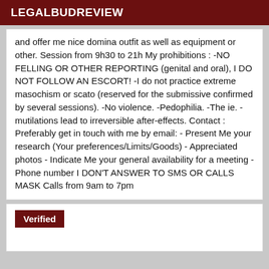LEGALBUDREVIEW
and offer me nice domina outfit as well as equipment or other. Session from 9h30 to 21h My prohibitions : -NO FELLING OR OTHER REPORTING (genital and oral), I DO NOT FOLLOW AN ESCORT! -I do not practice extreme masochism or scato (reserved for the submissive confirmed by several sessions). -No violence. -Pedophilia. -The ie. -mutilations lead to irreversible after-effects. Contact : Preferably get in touch with me by email: - Present Me your research (Your preferences/Limits/Goods) - Appreciated photos - Indicate Me your general availability for a meeting - Phone number I DON'T ANSWER TO SMS OR CALLS MASK Calls from 9am to 7pm
Verified